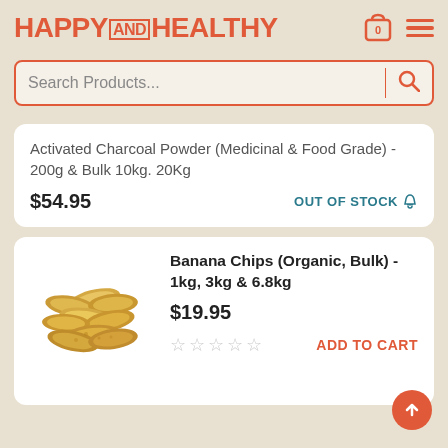HAPPY AND HEALTHY
Search Products...
Activated Charcoal Powder (Medicinal & Food Grade) - 200g & Bulk 10kg. 20Kg
$54.95  OUT OF STOCK
[Figure (photo): Banana chips pile - dried banana slices stacked together]
Banana Chips (Organic, Bulk) - 1kg, 3kg & 6.8kg
$19.95
ADD TO CART